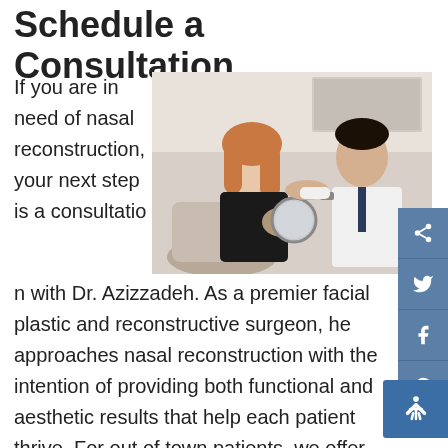Schedule a Consultation
[Figure (photo): A doctor examining a female patient in a clinical setting. The patient is seated and holding a mirror while the male doctor in a white coat examines her face/neck area.]
If you are in need of nasal reconstruction, your next step is a consultation with Dr. Azizzadeh. As a premier facial plastic and reconstructive surgeon, he approaches nasal reconstruction with the intention of providing both functional and aesthetic results that help each patient thrive. For out of town patients, we offer Skype consultations. To get started on your rhinoplasty surgery, please call our office and set an appointment